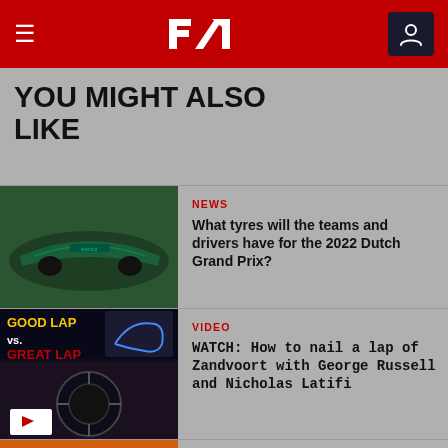F1 — Formula 1
YOU MIGHT ALSO LIKE
[Figure (photo): Aston Martin F1 car on track, green livery]
NEWS
What tyres will the teams and drivers have for the 2022 Dutch Grand Prix?
[Figure (screenshot): Good Lap vs Great Lap video thumbnail with play button]
VIDEO
WATCH: How to nail a lap of Zandvoort with George Russell and Nicholas Latifi
[Figure (photo): Lando Norris in McLaren racing gear]
NEWS
Norris says McLaren 'a long way from where we need to be' as